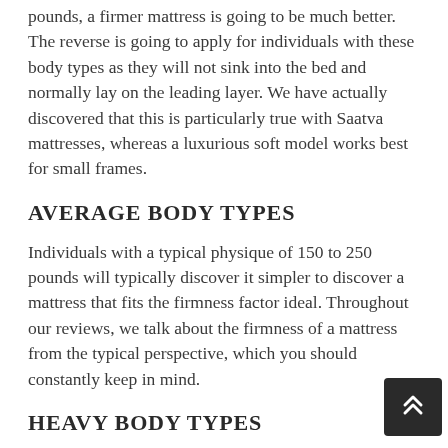pounds, a firmer mattress is going to be much better. The reverse is going to apply for individuals with these body types as they will not sink into the bed and normally lay on the leading layer. We have actually discovered that this is particularly true with Saatva mattresses, whereas a luxurious soft model works best for small frames.
AVERAGE BODY TYPES
Individuals with a typical physique of 150 to 250 pounds will typically discover it simpler to discover a mattress that fits the firmness factor ideal. Throughout our reviews, we talk about the firmness of a mattress from the typical perspective, which you should constantly keep in mind.
HEAVY BODY TYPES
Typically, heavier people are going to take pleasure